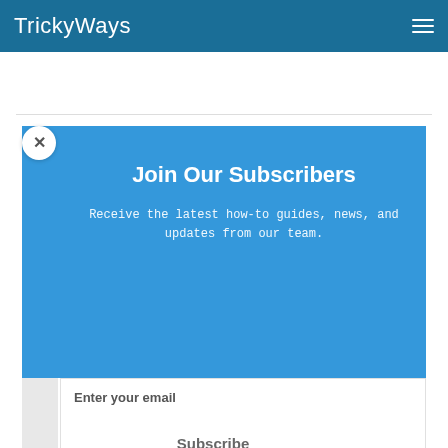TrickyWays
Join Our Subscribers
Receive the latest how-to guides, news, and updates from our team.
16 COMMENTS  ADD ONE
Enter your email
Subscribe